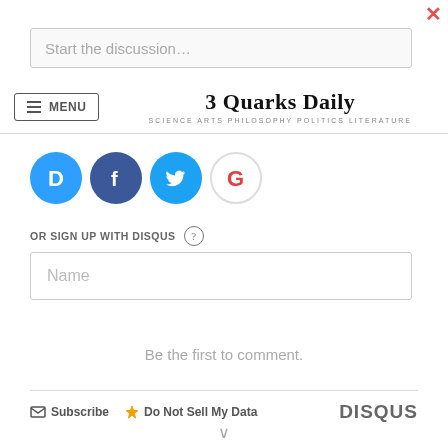[Figure (screenshot): Close/dismiss button (red X) in top right corner]
Start the discussion…
[Figure (screenshot): Navigation bar with MENU button and 3 Quarks Daily logo with subtitle SCIENCE ARTS PHILOSOPHY POLITICS LITERATURE]
[Figure (screenshot): Row of social login icons: Disqus (blue D), Facebook (blue F), Twitter (blue bird), Google (red G)]
OR SIGN UP WITH DISQUS ?
Name
Be the first to comment.
Subscribe   Do Not Sell My Data   DISQUS